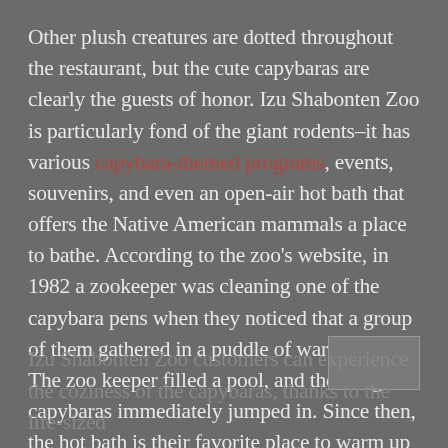Other plush creatures are dotted throughout the restaurant, but the cute capybaras are clearly the guests of honor. Izu Shabonten Zoo is particularly fond of the giant rodents–it has various capybara-themed programs, events, souvenirs, and even an open-air hot bath that offers the Native American mammals a place to bathe. According to the zoo's website, in 1982 a zookeeper was cleaning one of the capybara pens when they noticed that a group of them gathered in a puddle of warm water. The zoo keeper filled a pool, and the delighted capybaras immediately jumped in. Since then, the hot bath is their favorite place to warm up during cold winter months.
Izu Shabonten Zoo customers can experience the coziness of the capybaras, thanks to the life-sized